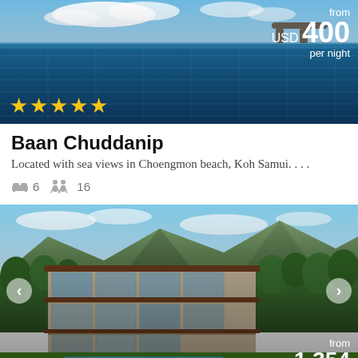[Figure (photo): Aerial/poolside view of a luxury villa with infinity pool, blue sky and clouds, lounge chairs visible at top right. Five gold stars at bottom left. Price overlay: from USD 400 per night.]
Baan Chuddanip
Located with sea views in Choengmon beach, Koh Samui. . . .
🛏 6   🚶 16
[Figure (photo): Aerial view of a large luxury villa with pool, surrounded by lush tropical greenery and mountains in the background. Navigation arrows on left and right. Price overlay at bottom right: from USD 1,354.]